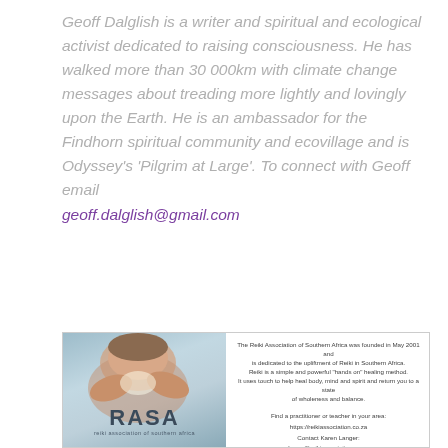Geoff Dalglish is a writer and spiritual and ecological activist dedicated to raising consciousness. He has walked more than 30 000km with climate change messages about treading more lightly and lovingly upon the Earth. He is an ambassador for the Findhorn spiritual community and ecovillage and is Odyssey's 'Pilgrim at Large'. To connect with Geoff email geoff.dalglish@gmail.com
[Figure (other): RASA advertisement for the Reiki Association of Southern Africa. Left side shows a photo of hands performing reiki on a person's head with the RASA logo. Right side contains text about the organization founded in May 2001, describing Reiki and providing contact information including website https://reikiassociation.co.za and contact Karen Langer.]